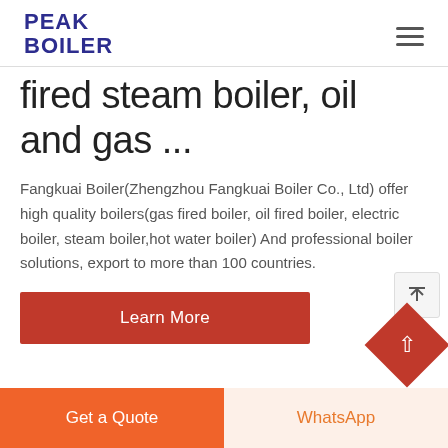PEAK BOILER
fired steam boiler, oil and gas ...
Fangkuai Boiler(Zhengzhou Fangkuai Boiler Co., Ltd) offer high quality boilers(gas fired boiler, oil fired boiler, electric boiler, steam boiler,hot water boiler) And professional boiler solutions, export to more than 100 countries.
Learn More
Get a Quote | WhatsApp